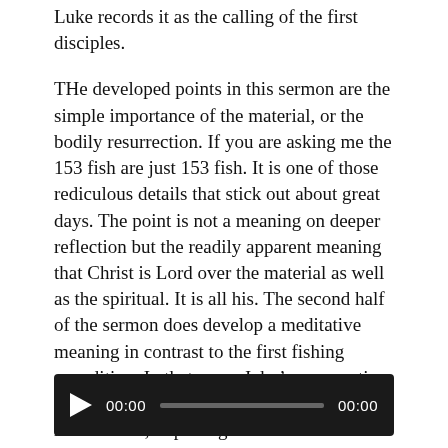Luke records it as the calling of the first disciples.
THe developed points in this sermon are the simple importance of the material, or the bodily resurrection. If you are asking me the 153 fish are just 153 fish. It is one of those rediculous details that stick out about great days. The point is not a meaning on deeper reflection but the readily apparent meaning that Christ is Lord over the material as well as the spiritual. It is all his. The second half of the sermon does develop a meditative meaning in contrast to the first fishing expedition. In that sense John’s resurrection account is a looking forward to our resurrection, to pulling all the fish to the shore.
[Figure (other): Audio player with play button, time display showing 00:00, progress bar, and end time 00:00 on dark background]